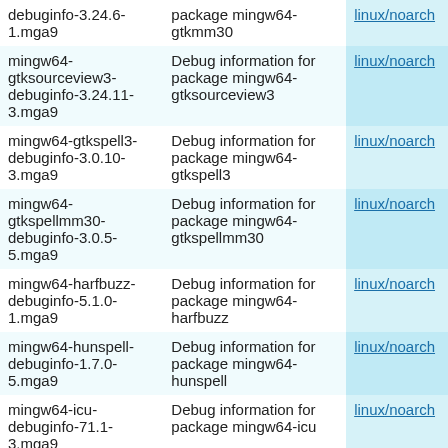| Package | Description | Arch |
| --- | --- | --- |
| debuginfo-3.24.6-1.mga9 | package mingw64-gtkmm30 | linux/noarch |
| mingw64-gtksourceview3-debuginfo-3.24.11-3.mga9 | Debug information for package mingw64-gtksourceview3 | linux/noarch |
| mingw64-gtkspell3-debuginfo-3.0.10-3.mga9 | Debug information for package mingw64-gtkspell3 | linux/noarch |
| mingw64-gtkspellmm30-debuginfo-3.0.5-5.mga9 | Debug information for package mingw64-gtkspellmm30 | linux/noarch |
| mingw64-harfbuzz-debuginfo-5.1.0-1.mga9 | Debug information for package mingw64-harfbuzz | linux/noarch |
| mingw64-hunspell-debuginfo-1.7.0-5.mga9 | Debug information for package mingw64-hunspell | linux/noarch |
| mingw64-icu-debuginfo-71.1-3.mga9 | Debug information for package mingw64-icu | linux/noarch |
| mingw64-jasper-debuginfo-2.0.28-2.mga9 | Debug information for package mingw64-jasper | linux/noarch |